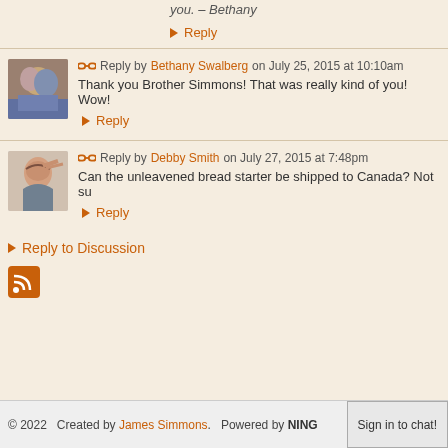you. – Bethany
► Reply
Reply by Bethany Swalberg on July 25, 2015 at 10:10am
Thank you Brother Simmons!  That was really kind of you! Wow!
► Reply
Reply by Debby Smith on July 27, 2015 at 7:48pm
Can the unleavened bread starter be shipped to Canada? Not su...
► Reply
► Reply to Discussion
© 2022   Created by James Simmons.   Powered by NING   Sign in to chat!